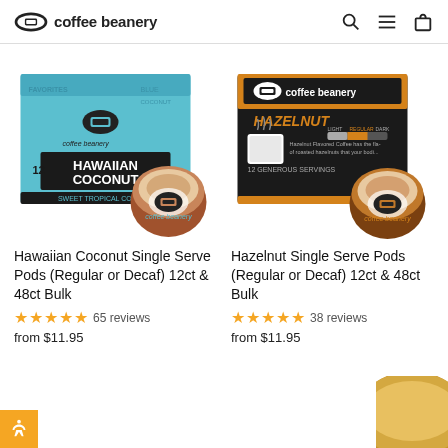coffee beanery
[Figure (photo): Hawaiian Coconut Single Serve Pods box (light blue) with a K-cup pod in front]
[Figure (photo): Hazelnut Single Serve Pods box (black and orange, Coffee Beanery branded) with a K-cup pod in front]
Hawaiian Coconut Single Serve Pods (Regular or Decaf) 12ct & 48ct Bulk
★★★★★ 65 reviews
from $11.95
Hazelnut Single Serve Pods (Regular or Decaf) 12ct & 48ct Bulk
★★★★★ 38 reviews
from $11.95